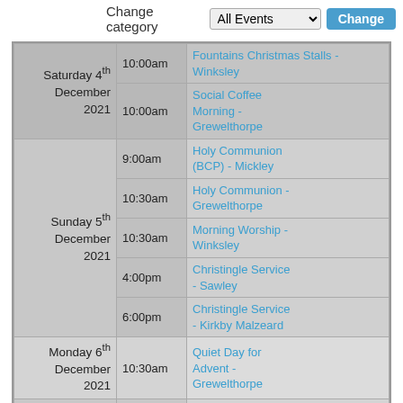Change category All Events Change
| Date | Time | Event |
| --- | --- | --- |
| Saturday 4th December 2021 | 10:00am | Fountains Christmas Stalls - Winksley |
|  | 10:00am | Social Coffee Morning - Grewelthorpe |
| Sunday 5th December 2021 | 9:00am | Holy Communion (BCP) - Mickley |
|  | 10:30am | Holy Communion - Grewelthorpe |
|  | 10:30am | Morning Worship - Winksley |
|  | 4:00pm | Christingle Service - Sawley |
|  | 6:00pm | Christingle Service - Kirkby Malzeard |
| Monday 6th December 2021 | 10:30am | Quiet Day for Advent - Grewelthorpe |
| Saturday 11th December ... | 10:00am | Fountains Christmas Stalls - ... |